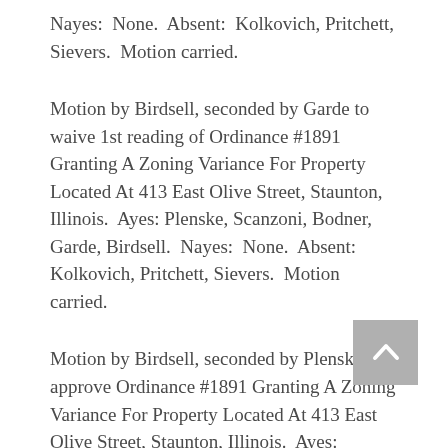Nayes: None. Absent: Kolkovich, Pritchett, Sievers. Motion carried.
Motion by Birdsell, seconded by Garde to waive 1st reading of Ordinance #1891 Granting A Zoning Variance For Property Located At 413 East Olive Street, Staunton, Illinois. Ayes: Plenske, Scanzoni, Bodner, Garde, Birdsell. Nayes: None. Absent: Kolkovich, Pritchett, Sievers. Motion carried.
Motion by Birdsell, seconded by Plenske to approve Ordinance #1891 Granting A Zoning Variance For Property Located At 413 East Olive Street, Staunton, Illinois. Ayes: Scanzoni, Bodner, Garde, Birdsell,